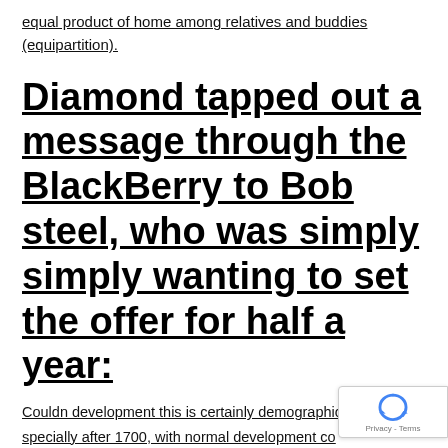equal product of home among relatives and buddies (equipartition).
Diamond tapped out a message through the BlackBerry to Bob steel, who was simply simply wanting to set the offer for half a year:
Couldn development this is certainly demographic specially after 1700, with normal development co about the purchase of 0. One is to assume that t...